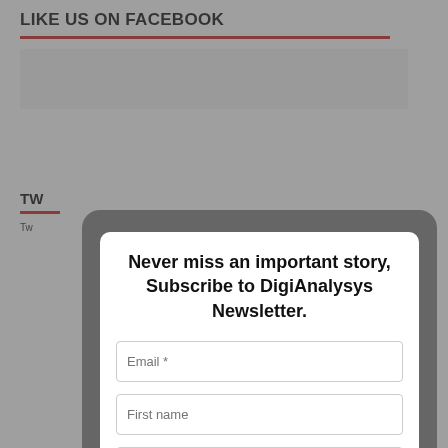LIKE US ON FACEBOOK
[Figure (screenshot): Facebook like widget placeholder box (light grey background)]
TW
Tw
[Figure (screenshot): Newsletter subscription modal popup with heading, email, first name, last name fields and subscribe button]
Never miss an important story, Subscribe to DigiAnalysys Newsletter.
Email *
First name
Last name
Subscribe